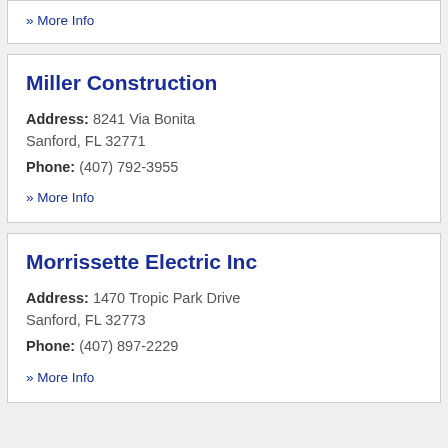» More Info
Miller Construction
Address: 8241 Via Bonita Sanford, FL 32771
Phone: (407) 792-3955
» More Info
Morrissette Electric Inc
Address: 1470 Tropic Park Drive Sanford, FL 32773
Phone: (407) 897-2229
» More Info